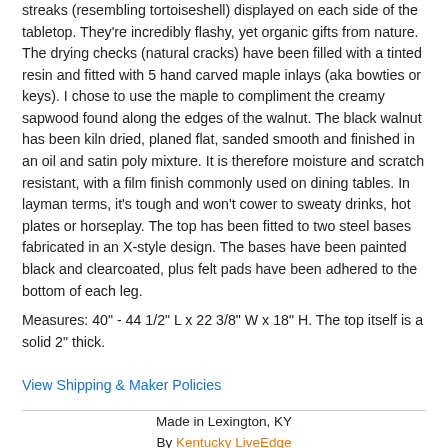streaks (resembling tortoiseshell) displayed on each side of the tabletop. They're incredibly flashy, yet organic gifts from nature. The drying checks (natural cracks) have been filled with a tinted resin and fitted with 5 hand carved maple inlays (aka bowties or keys). I chose to use the maple to compliment the creamy sapwood found along the edges of the walnut. The black walnut has been kiln dried, planed flat, sanded smooth and finished in an oil and satin poly mixture. It is therefore moisture and scratch resistant, with a film finish commonly used on dining tables. In layman terms, it's tough and won't cower to sweaty drinks, hot plates or horseplay. The top has been fitted to two steel bases fabricated in an X-style design. The bases have been painted black and clearcoated, plus felt pads have been adhered to the bottom of each leg.
Measures: 40" - 44 1/2" L x 22 3/8" W x 18" H. The top itself is a solid 2" thick.
View Shipping & Maker Policies
Made in Lexington, KY
By Kentucky LiveEdge
★★★★★ (2)
All of our products are handmade